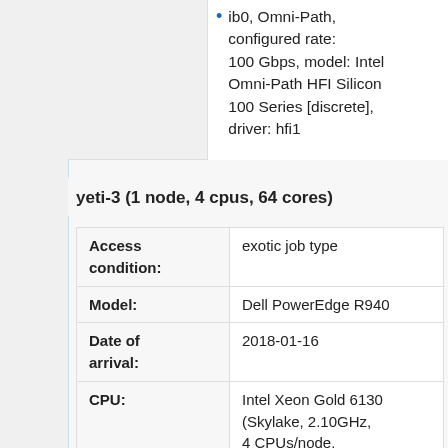ib0, Omni-Path, configured rate: 100 Gbps, model: Intel Omni-Path HFI Silicon 100 Series [discrete], driver: hfi1
yeti-3 (1 node, 4 cpus, 64 cores)
| Field | Value |
| --- | --- |
| Access condition: | exotic job type |
| Model: | Dell PowerEdge R940 |
| Date of arrival: | 2018-01-16 |
| CPU: | Intel Xeon Gold 6130 (Skylake, 2.10GHz, 4 CPUs/node, 16 cores/CPU) |
| Memory: | 768 GiB |
| Storage: | 480 GB SSD SATA |